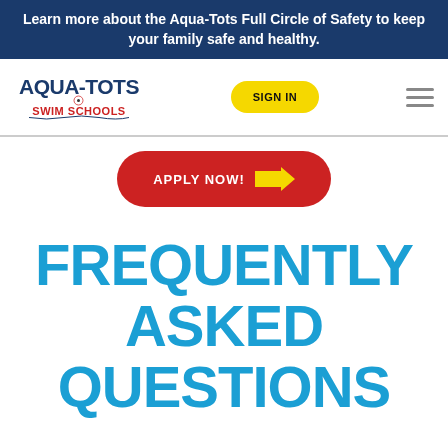Learn more about the Aqua-Tots Full Circle of Safety to keep your family safe and healthy.
[Figure (logo): Aqua-Tots Swim Schools logo with text and soccer ball graphic]
SIGN IN
APPLY NOW!
FREQUENTLY ASKED QUESTIONS